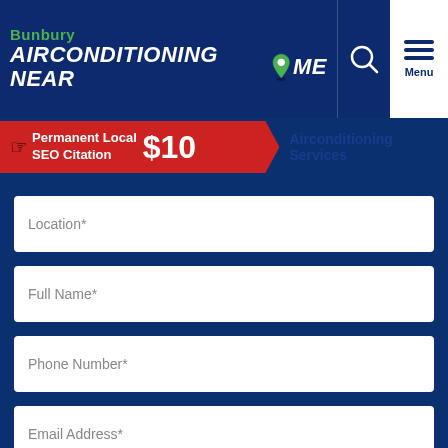[Figure (logo): Bunbury Airconditioning Near Me website header logo with green map pin icon, search icon, and white menu button]
[Figure (infographic): Red banner with hand pointing icon showing 'Permanent Local SEO Citation $10' followed by 'Airconditioning Services' text]
Location*
Full Name*
Phone Number*
Email Address*
* Mandatory fields
Briefly describe any specific requirements or instructions